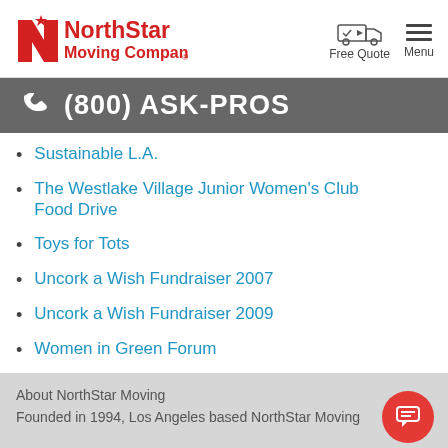[Figure (logo): NorthStar Moving Company red logo with stylized N and star]
[Figure (infographic): Free Quote icon with moving truck and Menu hamburger icon]
(800) ASK-PROS
Sustainable L.A.
The Westlake Village Junior Women's Club Food Drive
Toys for Tots
Uncork a Wish Fundraiser 2007
Uncork a Wish Fundraiser 2009
Women in Green Forum
About NorthStar Moving
Founded in 1994, Los Angeles based NorthStar Moving